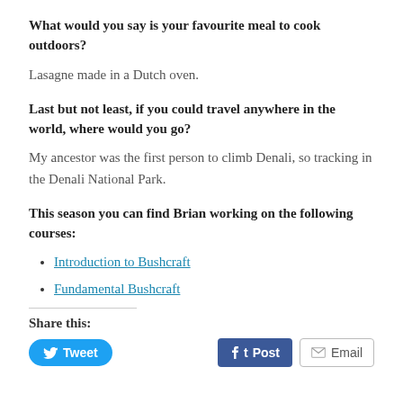What would you say is your favourite meal to cook outdoors?
Lasagne made in a Dutch oven.
Last but not least, if you could travel anywhere in the world, where would you go?
My ancestor was the first person to climb Denali, so tracking in the Denali National Park.
This season you can find Brian working on the following courses:
Introduction to Bushcraft
Fundamental Bushcraft
Share this: